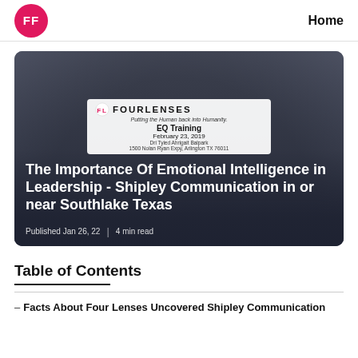FF | Home
[Figure (photo): Hero image showing audience from behind at a conference/training session, overlaid with a Four Lenses EQ Training event flier and the article title 'The Importance Of Emotional Intelligence in Leadership - Shipley Communication in or near Southlake Texas'. Published Jan 26, 22 | 4 min read]
Table of Contents
– Facts About Four Lenses Uncovered Shipley Communication